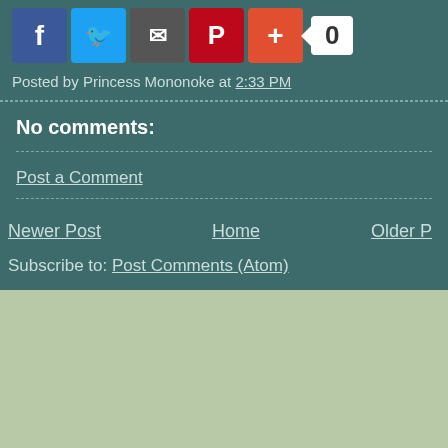[Figure (infographic): Social sharing buttons: Facebook (blue), Twitter (light blue), email/share (dark), Pinterest (red), Google+ (red-orange), and a count badge showing 0]
Posted by Princess Mononoke at 2:33 PM
No comments:
Post a Comment
Newer Post    Home    Older P
Subscribe to: Post Comments (Atom)